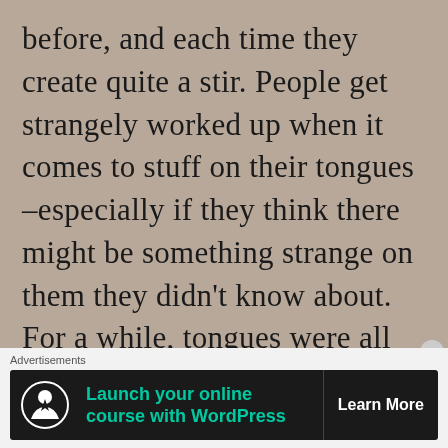before, and each time they create quite a stir. People get strangely worked up when it comes to stuff on their tongues –especially if they think there might be something strange on them they didn't know about. For a while, tongues were all you heard moving at the average bus stop
Advertisements
[Figure (other): Advertisement banner with dark background featuring a tree/person icon, green text 'Launch your online course with WordPress' and white 'Learn More' call-to-action button]